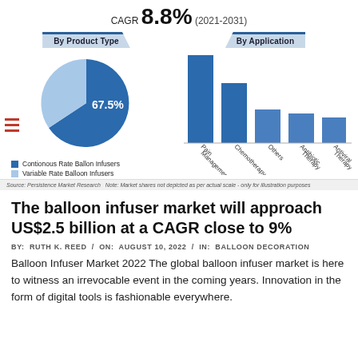CAGR 8.8% (2021-2031)
[Figure (pie-chart): By Product Type]
[Figure (bar-chart): By Application]
Source: Persistence Market Research   Note: Market shares not depicted as per actual scale - only for illustration purposes
The balloon infuser market will approach US$2.5 billion at a CAGR close to 9%
BY: RUTH K. REED / ON: AUGUST 10, 2022 / IN: BALLOON DECORATION
Balloon Infuser Market 2022 The global balloon infuser market is here to witness an irrevocable event in the coming years. Innovation in the form of digital tools is fashionable everywhere.